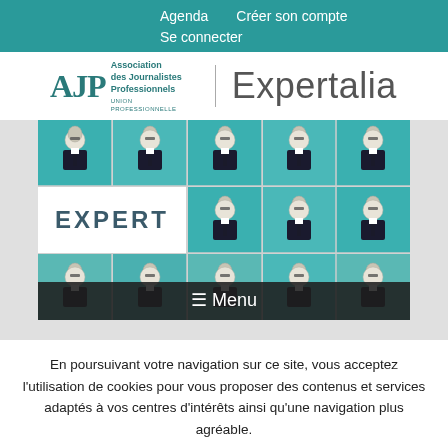Agenda   Créer son compte   Se connecter
[Figure (logo): AJP Association des Journalistes Professionnels logo with Expertalia text]
[Figure (illustration): Grid of illustrated expert figures in suits and glasses with EXPERT label overlay and Menu bar at bottom]
En poursuivant votre navigation sur ce site, vous acceptez l'utilisation de cookies pour vous proposer des contenus et services adaptés à vos centres d'intérêts ainsi qu'une navigation plus agréable.
Cacher ce message